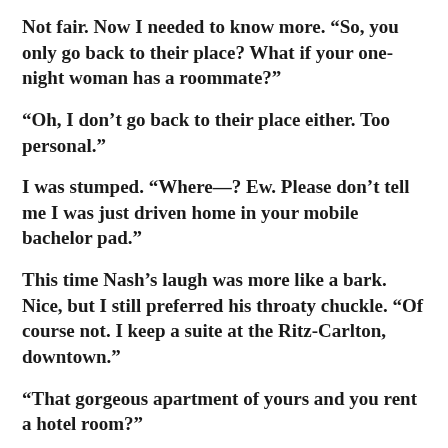Not fair. Now I needed to know more. “So, you only go back to their place? What if your one-night woman has a roommate?”
“Oh, I don’t go back to their place either. Too personal.”
I was stumped. “Where—? Ew. Please don’t tell me I was just driven home in your mobile bachelor pad.”
This time Nash’s laugh was more like a bark. Nice, but I still preferred his throaty chuckle. “Of course not. I keep a suite at the Ritz-Carlton, downtown.”
“That gorgeous apartment of yours and you rent a hotel room?”
“It’s a suite. And it’s just as nice, I assure you. Would you like to see it? I can take you there tonight, after our dinner.”
“We’re not having dinner. And I’m not going to be your